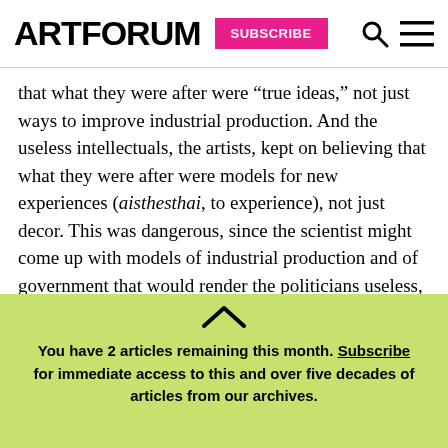ARTFORUM | SUBSCRIBE
that what they were after were “true ideas,” not just ways to improve industrial production. And the useless intellectuals, the artists, kept on believing that what they were after were models for new experiences (aisthesthai, to experience), not just decor. This was dangerous, since the scientist might come up with models of industrial production and of government that would render the politicians useless, and the artists might prove that work was
You have 2 articles remaining this month. Subscribe for immediate access to this and over five decades of articles from our archives.